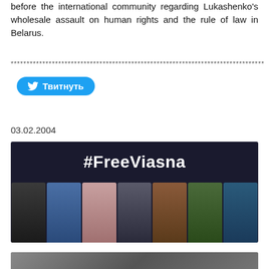before the international community regarding Lukashenko's wholesale assault on human rights and the rule of law in Belarus.
******************************************************************************
[Figure (screenshot): Twitter/Твитнуть (Tweet) button in blue with bird icon]
03.02.2004
[Figure (photo): #FreeViasna banner with dark background and group of seven people standing together]
[Figure (photo): FREEDOM OF PEACEFUL... banner with street/city background image]